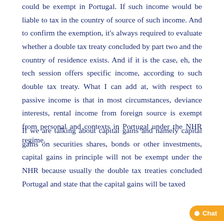could be exempt in Portugal. If such income would be liable to tax in the country of source of such income. And to confirm the exemption, it's always required to evaluate whether a double tax treaty concluded by part two and the country of residence exists. And if it is the case, eh, the tech session offers specific income, according to such double tax treaty. What I can add at, with respect to passive income is that in most circumstances, deviance interests, rental income from foreign source is exempt from personal and contexts in Portugal under the NHR regime.
If we are talking about capital gains and namely capital gains on securities shares, bonds or other investments, capital gains in principle will not be exempt under the NHR because usually the double tax treaties concluded Portugal and state that the capital gains will be taxed